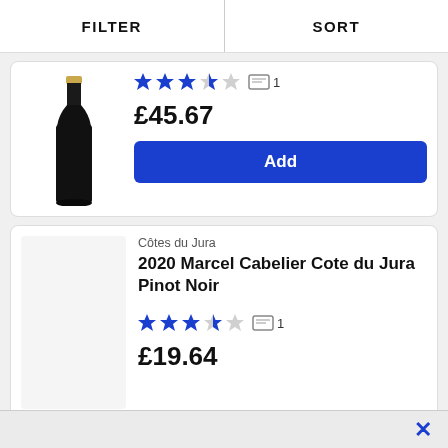FILTER  |  SORT
[Figure (photo): Black wine bottle with gold foil top, partially cropped]
3.5 stars, 1 review
£45.67
Add
Côtes du Jura
2020 Marcel Cabelier Cote du Jura Pinot Noir
3.5 stars, 1 review
£19.64